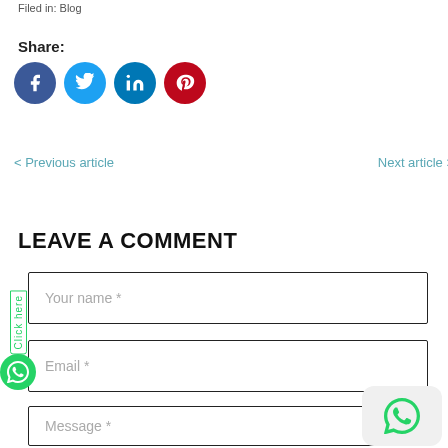Filed in: Blog
Share:
[Figure (other): Social share icons: Facebook (blue circle), Twitter (blue circle), LinkedIn (teal circle), Pinterest (red circle)]
< Previous article
Next article >
LEAVE A COMMENT
Your name *
Email *
Message *